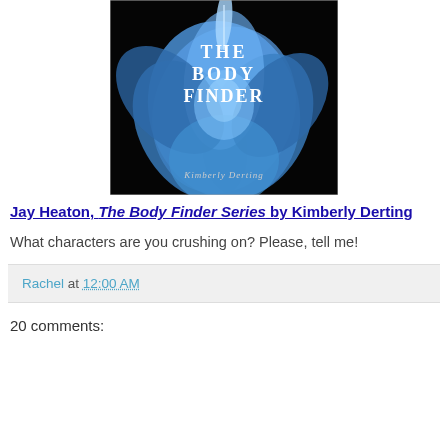[Figure (illustration): Book cover of 'The Body Finder' by Kimberly Derting — dark background with large blue flower/petals and white title text]
Jay Heaton, The Body Finder Series by Kimberly Derting
What characters are you crushing on? Please, tell me!
Rachel at 12:00 AM
20 comments: